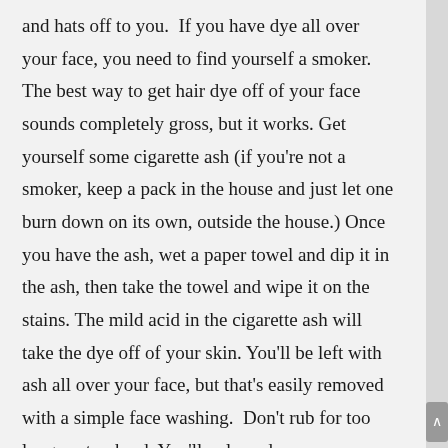and hats off to you.  If you have dye all over your face, you need to find yourself a smoker. The best way to get hair dye off of your face sounds completely gross, but it works. Get yourself some cigarette ash (if you're not a smoker, keep a pack in the house and just let one burn down on its own, outside the house.) Once you have the ash, wet a paper towel and dip it in the ash, then take the towel and wipe it on the stains. The mild acid in the cigarette ash will take the dye off of your skin. You'll be left with ash all over your face, but that's easily removed with a simple face washing.  Don't rub for too long, or too hard. You'll only end up